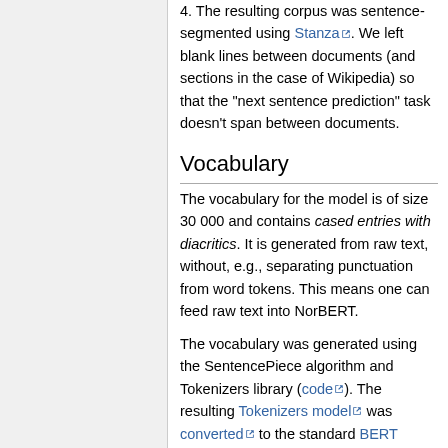4. The resulting corpus was sentence-segmented using Stanza. We left blank lines between documents (and sections in the case of Wikipedia) so that the "next sentence prediction" task doesn't span between documents.
Vocabulary
The vocabulary for the model is of size 30 000 and contains cased entries with diacritics. It is generated from raw text, without, e.g., separating punctuation from word tokens. This means one can feed raw text into NorBERT.
The vocabulary was generated using the SentencePiece algorithm and Tokenizers library (code). The resulting Tokenizers model was converted to the standard BERT WordPiece format.